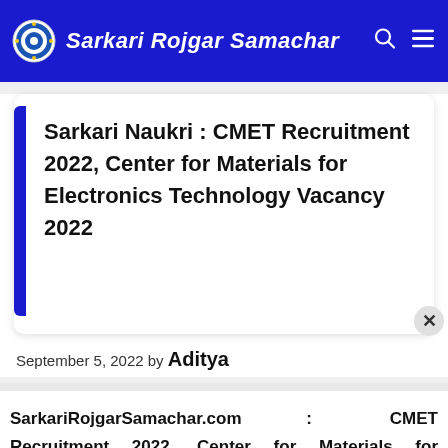Sarkari Rojgar Samachar
Sarkari Naukri : CMET Recruitment 2022, Center for Materials for Electronics Technology Vacancy 2022
September 5, 2022 by Aditya
SarkariRojgarSamachar.com : CMET Recruitment 2022, Center for Materials for Electronics Technology